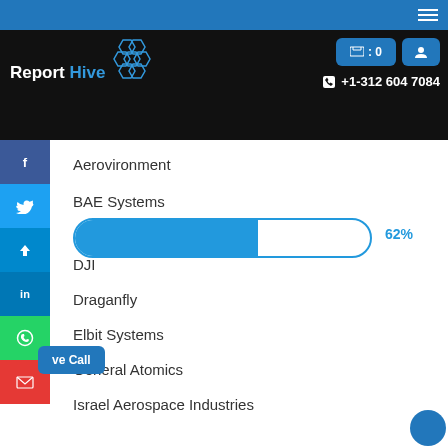Report Hive — navigation header with logo, cart button, user button, phone +1-312 604 7084
Aerovironment
BAE Systems
[Figure (other): Horizontal progress bar showing 62% fill in blue with '62%' label to the right]
DJI
Draganfly
Elbit Systems
General Atomics
Israel Aerospace Industries